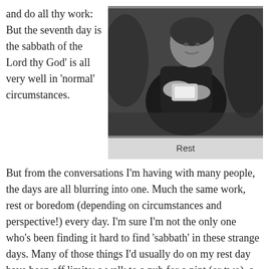and do all thy work: But the seventh day is the sabbath of the Lord thy God' is all very well in 'normal' circumstances.
[Figure (photo): Black and white photo of a person sitting on a couch or sofa, appearing to be reading or resting, with cushions around them.]
Rest
But from the conversations I'm having with many people, the days are all blurring into one. Much the same work, rest or boredom (depending on circumstances and perspective!) every day. I'm sure I'm not the only one who's been finding it hard to find 'sabbath' in these strange days. Many of those things I'd usually do on my rest day have been off limits: a walk to a pub for a pint (or two), a trip to see family, a day out with friends, a visit to a National Trust property.